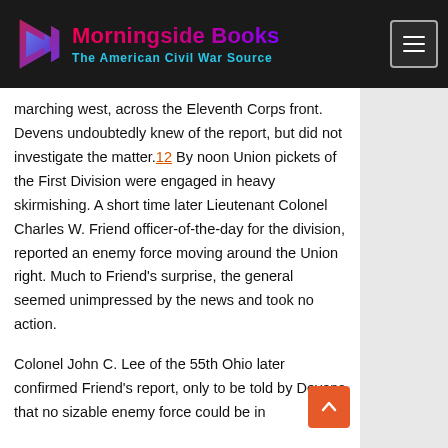Morningside Books — The American Civil War Source
marching west, across the Eleventh Corps front. Devens undoubtedly knew of the report, but did not investigate the matter.12 By noon Union pickets of the First Division were engaged in heavy skirmishing. A short time later Lieutenant Colonel Charles W. Friend officer-of-the-day for the division, reported an enemy force moving around the Union right. Much to Friend's surprise, the general seemed unimpressed by the news and took no action.
Colonel John C. Lee of the 55th Ohio later confirmed Friend's report, only to be told by Devens that no sizable enemy force could be in